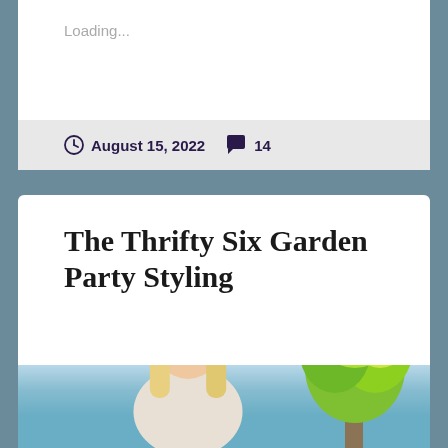Loading...
August 15, 2022   14
The Thrifty Six Garden Party Styling
[Figure (photo): A blonde woman smiling outdoors against a blue sky with green trees in the background]